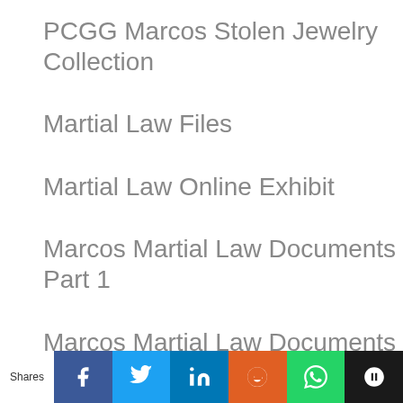PCGG Marcos Stolen Jewelry Collection
Martial Law Files
Martial Law Online Exhibit
Marcos Martial Law Documents Part 1
Marcos Martial Law Documents Part 2
Digital Museum of Martial Law in the Philippines
Shares | Facebook | Twitter | LinkedIn | Reddit | WhatsApp | SumoMe